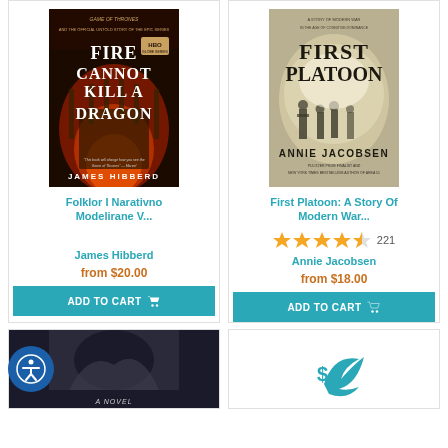[Figure (photo): Book cover: Fire Cannot Kill a Dragon by James Hibberd - dark book cover with iron throne and dragon imagery]
Folklor I Narativno Modelirane V...
James Hibberd
from $20.00
ADD TO CART
[Figure (photo): Book cover: First Platoon: A Story Of Modern War by Annie Jacobsen - soldiers in desert with light background]
First Platoon: A Story Of Modern War...
221 reviews, 4.5 stars
Annie Jacobsen
from $18.00
ADD TO CART
[Figure (photo): Partial book cover at bottom left - dark novel cover]
[Figure (logo): Partial logo/cover at bottom right - teal bird/arrow icon]